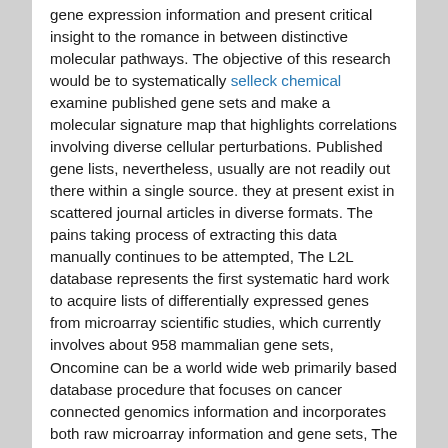gene expression information and present critical insight to the romance in between distinctive molecular pathways. The objective of this research would be to systematically selleck chemical examine published gene sets and make a molecular signature map that highlights correlations involving diverse cellular perturbations. Published gene lists, nevertheless, usually are not readily out there within a single source. they at present exist in scattered journal articles in diverse formats. The pains taking process of extracting this data manually continues to be attempted, The L2L database represents the first systematic hard work to acquire lists of differentially expressed genes from microarray scientific studies, which currently involves about 958 mammalian gene sets, Oncomine can be a world wide web primarily based database procedure that focuses on cancer connected genomics information and incorporates both raw microarray information and gene sets, The Molecular Signatures Database was constructed as being a knowledgebase for that well-known pathway analysis program often called Gene Set Enrichment Analy sis, The majority of the L2L information is incorporated in